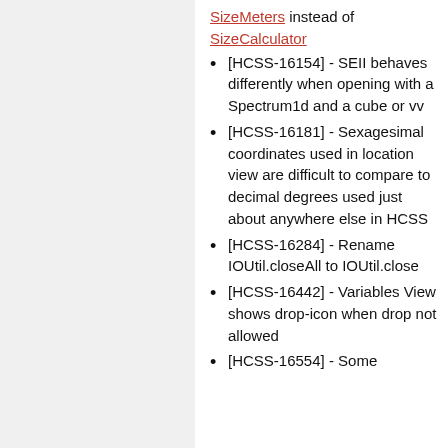SizeMeters instead of SizeCalculator
[HCSS-16154] - SEII behaves differently when opening with a Spectrum1d and a cube or vv
[HCSS-16181] - Sexagesimal coordinates used in location view are difficult to compare to decimal degrees used just about anywhere else in HCSS
[HCSS-16284] - Rename IOUtil.closeAll to IOUtil.close
[HCSS-16442] - Variables View shows drop-icon when drop not allowed
[HCSS-16554] - Some